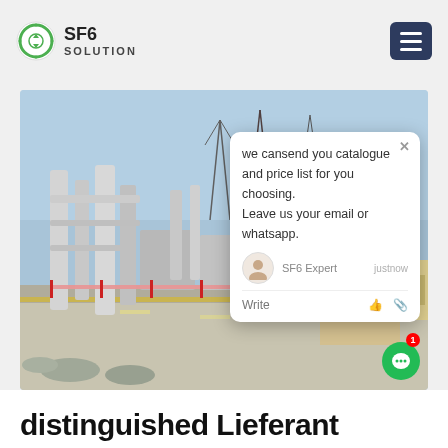SF6 SOLUTION
[Figure (photo): Electrical substation with SF6 gas-insulated switchgear, high-voltage equipment, transmission towers, and a yellow service truck. A chat popup overlay is visible in the top-right corner of the image showing a message: 'we cansend you catalogue and price list for you choosing. Leave us your email or whatsapp.' with SF6 Expert label and 'just now' timestamp. A green chat bubble button with notification badge showing '1' is also visible.]
distinguished Lieferant